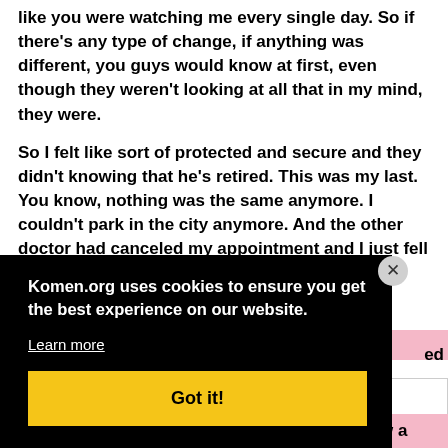like you were watching me every single day. So if there's any type of change, if anything was different, you guys would know at first, even though they weren't looking at all that in my mind, they were.
So I felt like sort of protected and secure and they didn't knowing that he's retired. This was my last. You know, nothing was the same anymore. I couldn't park in the city anymore. And the other doctor had canceled my appointment and I just fell apart that day f... will...
Komen.org uses cookies to ensure you get the best experience on our website.
Learn more
Got it!
see,
ed
e just ldn't,
um, after, you know, I told my husband, I know a